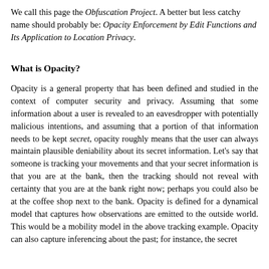We call this page the Obfuscation Project. A better but less catchy name should probably be: Opacity Enforcement by Edit Functions and Its Application to Location Privacy.
What is Opacity?
Opacity is a general property that has been defined and studied in the context of computer security and privacy. Assuming that some information about a user is revealed to an eavesdropper with potentially malicious intentions, and assuming that a portion of that information needs to be kept secret, opacity roughly means that the user can always maintain plausible deniability about its secret information. Let's say that someone is tracking your movements and that your secret information is that you are at the bank, then the tracking should not reveal with certainty that you are at the bank right now; perhaps you could also be at the coffee shop next to the bank. Opacity is defined for a dynamical model that captures how observations are emitted to the outside world. This would be a mobility model in the above tracking example. Opacity can also capture inferencing about the past; for instance, the secret